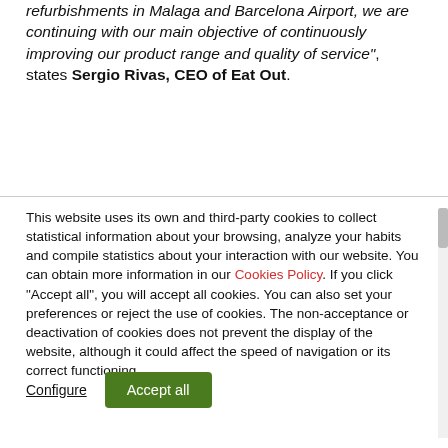refurbishments in Malaga and Barcelona Airport, we are continuing with our main objective of continuously improving our product range and quality of service", states Sergio Rivas, CEO of Eat Out.
This website uses its own and third-party cookies to collect statistical information about your browsing, analyze your habits and compile statistics about your interaction with our website. You can obtain more information in our Cookies Policy. If you click "Accept all", you will accept all cookies. You can also set your preferences or reject the use of cookies. The non-acceptance or deactivation of cookies does not prevent the display of the website, although it could affect the speed of navigation or its correct functioning.
Configure
Accept all